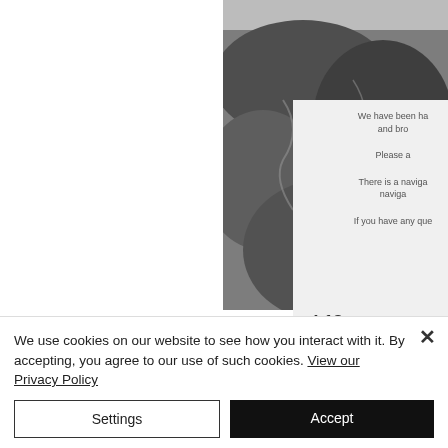[Figure (photo): Black and white photograph of a rocky landscape or waterfall, partially visible in the top-right area of the page]
We have been ha and bro Please a There is a naviga naviga If you have any que
I.12
[Figure (screenshot): Blue banner bar partially visible]
We use cookies on our website to see how you interact with it. By accepting, you agree to our use of such cookies. View our Privacy Policy
Settings
Accept